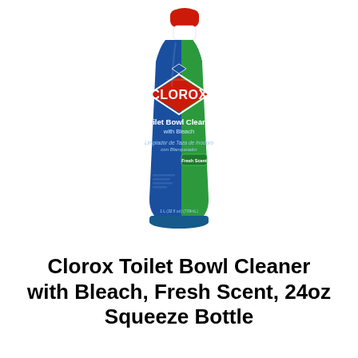[Figure (photo): Clorox Toilet Bowl Cleaner with Bleach bottle — tall squeeze bottle with red cap, blue and green label featuring the Clorox logo in a red diamond shape, text reading 'Toilet Bowl Cleaner with Bleach' and Spanish text below, Fresh Scent variant]
Clorox Toilet Bowl Cleaner with Bleach, Fresh Scent, 24oz Squeeze Bottle